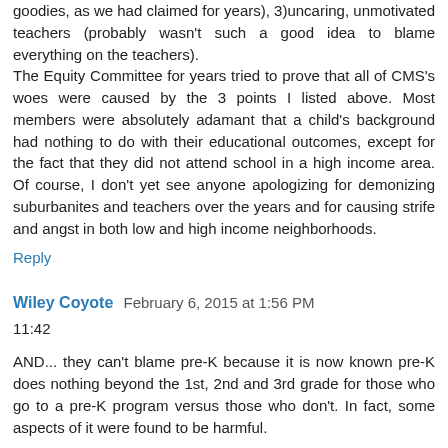goodies, as we had claimed for years), 3)uncaring, unmotivated teachers (probably wasn't such a good idea to blame everything on the teachers).
The Equity Committee for years tried to prove that all of CMS's woes were caused by the 3 points I listed above. Most members were absolutely adamant that a child's background had nothing to do with their educational outcomes, except for the fact that they did not attend school in a high income area. Of course, I don't yet see anyone apologizing for demonizing suburbanites and teachers over the years and for causing strife and angst in both low and high income neighborhoods.
Reply
Wiley Coyote  February 6, 2015 at 1:56 PM
11:42
AND... they can't blame pre-K because it is now known pre-K does nothing beyond the 1st, 2nd and 3rd grade for those who go to a pre-K program versus those who don't. In fact, some aspects of it were found to be harmful.